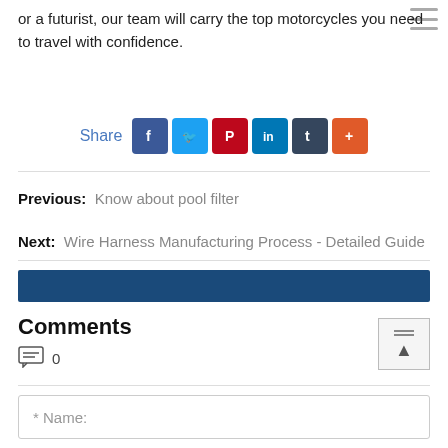or a futurist, our team will carry the top motorcycles you need to travel with confidence.
[Figure (infographic): Social share row with Facebook, Twitter, Pinterest, LinkedIn, Tumblr, and more (+) buttons]
Previous: Know about pool filter
Next: Wire Harness Manufacturing Process - Detailed Guide
Comments
0
* Name: